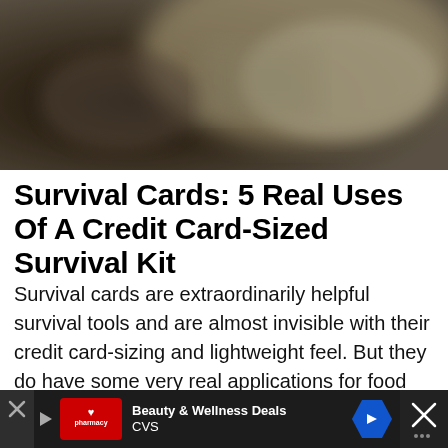[Figure (photo): Blurred photo of metallic/dark objects, appears to be a survival card or multi-tool on a dark background]
Survival Cards: 5 Real Uses Of A Credit Card-Sized Survival Kit
Survival cards are extraordinarily helpful survival tools and are almost invisible with their credit card-sizing and lightweight feel. But they do have some very real applications for food and survival when you are in the wi[lderness]...days...
[Figure (screenshot): Advertisement bar at bottom: CVS pharmacy Beauty & Wellness Deals ad with navigation arrow icon and close/dismiss controls]